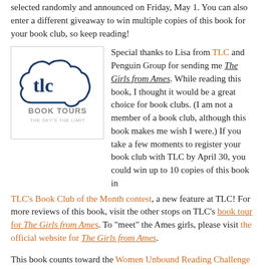selected randomly and announced on Friday, May 1. You can also enter a different giveaway to win multiple copies of this book for your book club, so keep reading!
[Figure (logo): TLC Book Tours logo — cloud shape with 'tlc' text inside, subtitle 'BOOK TOURS THE SKY'S THE LIMIT']
Special thanks to Lisa from TLC and Penguin Group for sending me The Girls from Ames. While reading this book, I thought it would be a great choice for book clubs. (I am not a member of a book club, although this book makes me wish I were.) If you take a few moments to register your book club with TLC by April 30, you could win up to 10 copies of this book in TLC's Book Club of the Month contest, a new feature at TLC! For more reviews of this book, visit the other stops on TLC's book tour for The Girls from Ames. To "meet" the Ames girls, please visit the official website for The Girls from Ames.
This book counts toward the Women Unbound Reading Challenge hosted by Aarti, Care, and Eva.